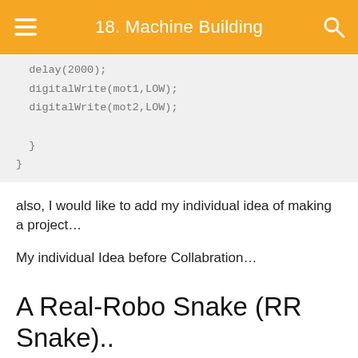18. Machine Building
delay(2000);
digitalWrite(mot1,LOW);
digitalWrite(mot2,LOW);
}
}
also, I would like to add my individual idea of making a project…
My individual Idea before Collabration…
A Real-Robo Snake (RR Snake)..
This is a toy snake, which appears as a real snake, moreover, it also moves like a snake.
For more information Dont the below...